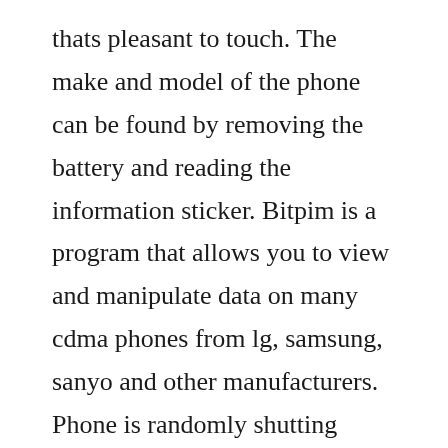thats pleasant to touch. The make and model of the phone can be found by removing the battery and reading the information sticker. Bitpim is a program that allows you to view and manipulate data on many cdma phones from lg, samsung, sanyo and other manufacturers. Phone is randomly shutting down completly, not just restarting. The phone was released on june 5, 2009 as a successor to the lg voyager. It was the first of the black label series phones and it traded on its design. Its shape is unique, its colours striking and its one of the few phones these days that gets